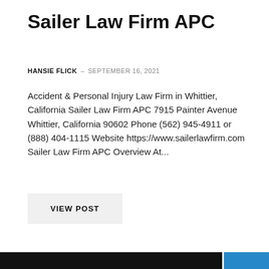Sailer Law Firm APC
HANSIE FLICK  –  SEPTEMBER 16, 2021
Accident & Personal Injury Law Firm in Whittier, California Sailer Law Firm APC 7915 Painter Avenue Whittier, California 90602 Phone (562) 945-4911 or (888) 404-1115 Website https://www.sailerlawfirm.com Sailer Law Firm APC Overview At...
VIEW POST
[Figure (photo): Dark background image with a blue panel on the right side, partially visible at the bottom of the page]